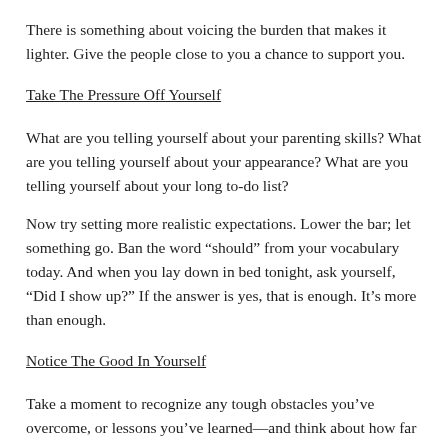There is something about voicing the burden that makes it lighter. Give the people close to you a chance to support you.
Take The Pressure Off Yourself
What are you telling yourself about your parenting skills? What are you telling yourself about your appearance? What are you telling yourself about your long to-do list?
Now try setting more realistic expectations. Lower the bar; let something go. Ban the word “should” from your vocabulary today. And when you lay down in bed tonight, ask yourself, “Did I show up?” If the answer is yes, that is enough. It’s more than enough.
Notice The Good In Yourself
Take a moment to recognize any tough obstacles you’ve overcome, or lessons you’ve learned—and think about how far